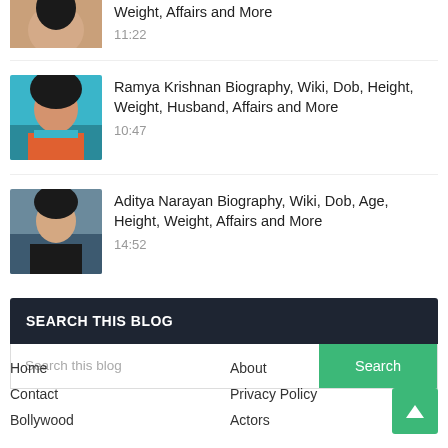[Figure (photo): Partial thumbnail of a woman, cropped at top of page]
Weight, Affairs and More
11:22
[Figure (photo): Thumbnail of Ramya Krishnan in teal saree]
Ramya Krishnan Biography, Wiki, Dob, Height, Weight, Husband, Affairs and More
10:47
[Figure (photo): Thumbnail of Aditya Narayan in black outfit]
Aditya Narayan Biography, Wiki, Dob, Age, Height, Weight, Affairs and More
14:52
SEARCH THIS BLOG
Search this blog
Home
About
Contact
Privacy Policy
Bollywood
Actors